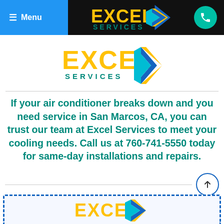Menu | EXCEL SERVICES [logo] [phone icon]
[Figure (logo): Excel Services logo with yellow EXCEL text, teal SERVICES text, and triangular arrow icon in blue, teal and yellow]
If your air conditioner breaks down and you need service in San Marcos, CA, you can trust our team at Excel Services to meet your cooling needs. Call us at 760-741-5550 today for same-day installations and repairs.
[Figure (logo): Excel Services logo partial at bottom, inside dashed blue border box]